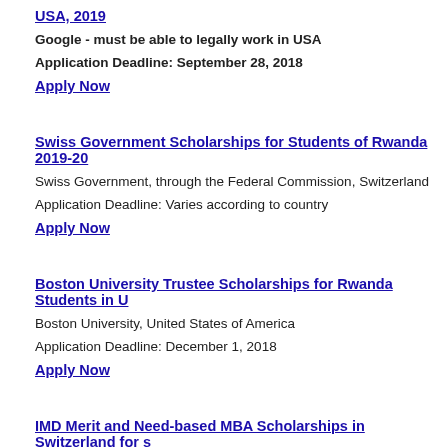USA, 2019
Google - must be able to legally work in USA
Application Deadline: September 28, 2018
Apply Now
Swiss Government Scholarships for Students of Rwanda 2019-20
Swiss Government, through the Federal Commission, Switzerland
Application Deadline: Varies according to country
Apply Now
Boston University Trustee Scholarships for Rwanda Students in U
Boston University, United States of America
Application Deadline: December 1, 2018
Apply Now
IMD Merit and Need-based MBA Scholarships in Switzerland for s 2018